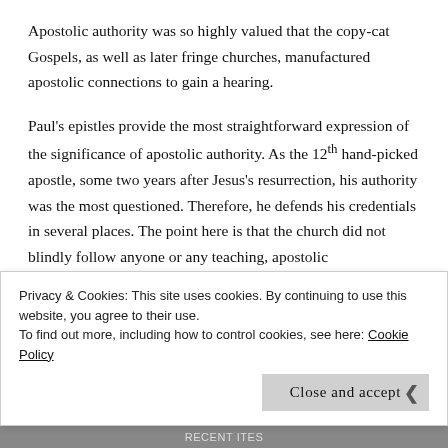Apostolic authority was so highly valued that the copy-cat Gospels, as well as later fringe churches, manufactured apostolic connections to gain a hearing.
Paul's epistles provide the most straightforward expression of the significance of apostolic authority. As the 12th hand-picked apostle, some two years after Jesus's resurrection, his authority was the most questioned. Therefore, he defends his credentials in several places. The point here is that the church did not blindly follow anyone or any teaching, apostolic
Privacy & Cookies: This site uses cookies. By continuing to use this website, you agree to their use. To find out more, including how to control cookies, see here: Cookie Policy
Close and accept